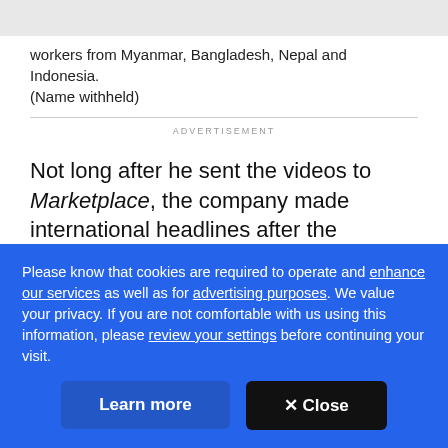workers from Myanmar, Bangladesh, Nepal and Indonesia. (Name withheld)
ADVERTISEMENT
Not long after he sent the videos to Marketplace, the company made international headlines after the Malaysian government forced it to shut down much of its production following a COVID-19 outbreak that
Please know that cookies are required to operate and enhance our services as well as for advertising purposes. We value your privacy. If you are not comfortable with us using this information, please review your settings before continuing your visit.
Learn more
✕ Close